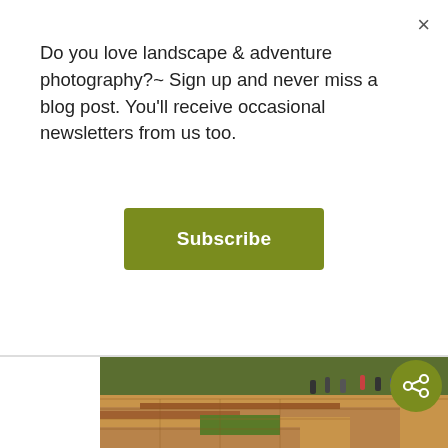Do you love landscape & adventure photography?~ Sign up and never miss a blog post. You'll receive occasional newsletters from us too.
Subscribe
[Figure (photo): Ancient stone ruins with steps and green grass, people visible at the top]
[Figure (photo): Two cyclists riding loaded mountain bikes on a gravel road with dramatic mountain landscape behind]
Next Post
Kathmandu 'World Ready' Mini-Doco